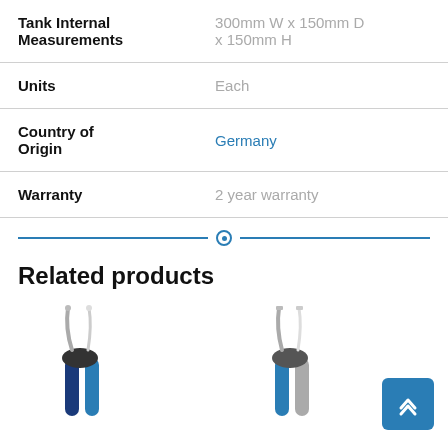| Attribute | Value |
| --- | --- |
| Tank Internal Measurements | 300mm W x 150mm D x 150mm H |
| Units | Each |
| Country of Origin | Germany |
| Warranty | 2 year warranty |
Related products
[Figure (photo): Two pliers with blue handles shown side by side]